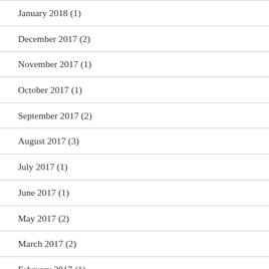January 2018 (1)
December 2017 (2)
November 2017 (1)
October 2017 (1)
September 2017 (2)
August 2017 (3)
July 2017 (1)
June 2017 (1)
May 2017 (2)
March 2017 (2)
February 2017 (1)